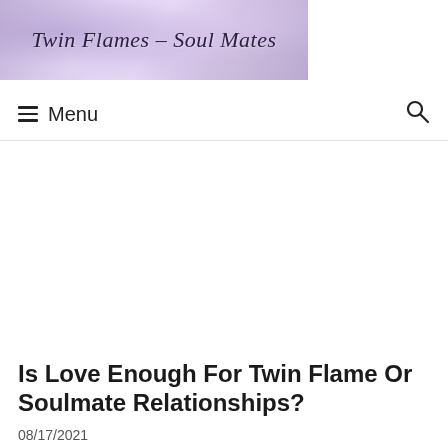[Figure (illustration): Website header banner with soft purple and lavender watercolor-style background featuring the cursive text 'Twin Flames - Soul Mates']
☰ Menu  🔍
Is Love Enough For Twin Flame Or Soulmate Relationships?
08/17/2021